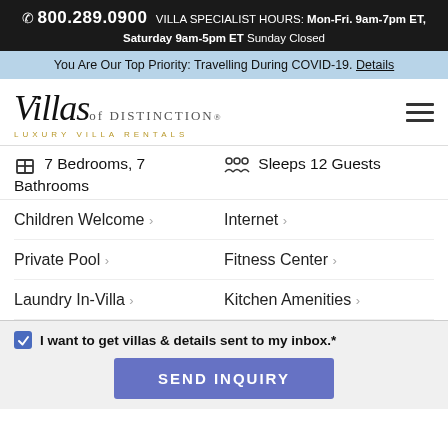📞 800.289.0900  VILLA SPECIALIST HOURS: Mon-Fri. 9am-7pm ET, Saturday 9am-5pm ET Sunday Closed
You Are Our Top Priority: Travelling During COVID-19. Details
[Figure (logo): Villas of Distinction Luxury Villa Rentals logo with hamburger menu icon]
7 Bedrooms, 7 Bathrooms
Sleeps 12 Guests
Children Welcome >
Internet >
Private Pool >
Fitness Center >
Laundry In-Villa >
Kitchen Amenities >
I want to get villas & details sent to my inbox.*
SEND INQUIRY